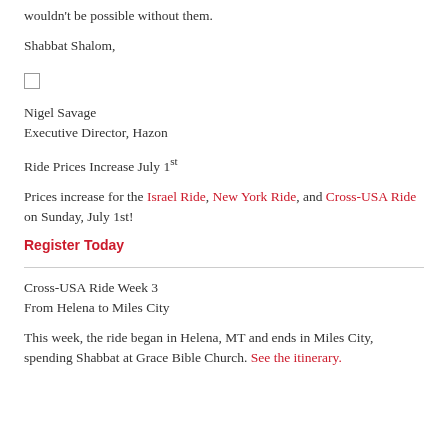wouldn't be possible without them.
Shabbat Shalom,
[Figure (other): Small checkbox/signature placeholder square]
Nigel Savage
Executive Director, Hazon
Ride Prices Increase July 1st
Prices increase for the Israel Ride, New York Ride, and Cross-USA Ride on Sunday, July 1st!
Register Today
Cross-USA Ride Week 3
From Helena to Miles City
This week, the ride began in Helena, MT and ends in Miles City, spending Shabbat at Grace Bible Church. See the itinerary.